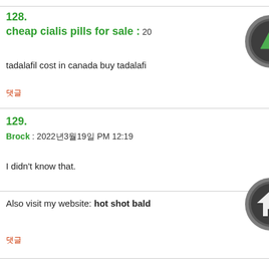128.
cheap cialis pills for sale : 20...
tadalafil cost in canada buy tadalafi...
댓글
129.
Brock : 2022년3월19일 PM 12:19
I didn't know that.
Also visit my website: hot shot bald...
댓글